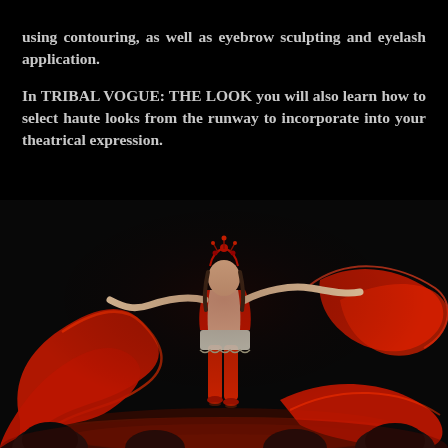using contouring, as well as eyebrow sculpting and eyelash application.
In TRIBAL VOGUE: THE LOOK you will also learn how to select haute looks from the runway to incorporate into your theatrical expression.
[Figure (photo): A belly dancer wearing a red costume with decorative headpiece performs on a stage, swirling large flowing red fabric ribbons around her. The stage is dark with dramatic lighting illuminating the dancer and the swirling red fabric. Silhouettes of audience members are visible at the bottom of the image.]